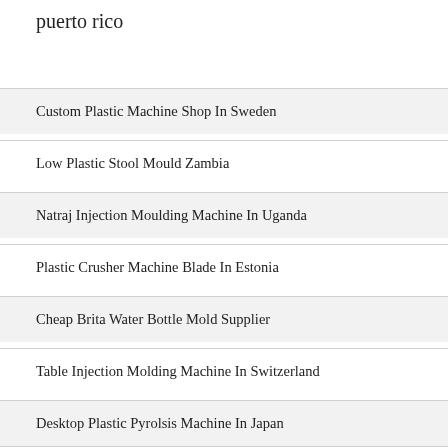puerto rico
Custom Plastic Machine Shop In Sweden
Low Plastic Stool Mould Zambia
Natraj Injection Moulding Machine In Uganda
Plastic Crusher Machine Blade In Estonia
Cheap Brita Water Bottle Mold Supplier
Table Injection Molding Machine In Switzerland
Desktop Plastic Pyrolsis Machine In Japan
Plastic Stackable Stool Mould Iraq